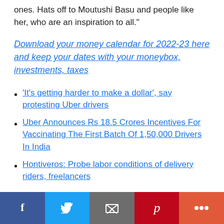ones. Hats off to Moutushi Basu and people like her, who are an inspiration to all."
Download your money calendar for 2022-23 here and keep your dates with your moneybox, investments, taxes
'It's getting harder to make a dollar', say protesting Uber drivers
Uber Announces Rs 18.5 Crores Incentives For Vaccinating The First Batch Of 1,50,000 Drivers In India
Hontiveros: Probe labor conditions of delivery riders, freelancers